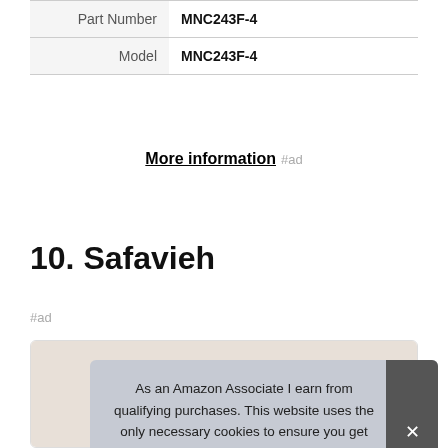| Part Number | MNC243F-4 |
| Model | MNC243F-4 |
More information #ad
10. Safavieh
#ad
[Figure (photo): Product card showing a Safavieh item, partially visible at bottom of page]
As an Amazon Associate I earn from qualifying purchases. This website uses the only necessary cookies to ensure you get the best experience on our website. More information